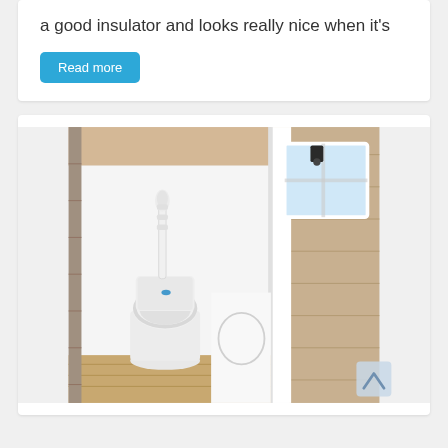a good insulator and looks really nice when it's
Read more
[Figure (photo): Interior photo of a compact bathroom in a tiny home, showing a white composting/portable toilet on a wooden platform, white walls, a small rectangular window with black hardware, and a shower enclosure on the right side with wood panel walls.]